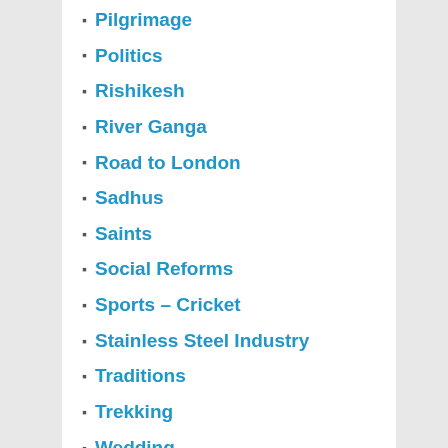Pilgrimage
Politics
Rishikesh
River Ganga
Road to London
Sadhus
Saints
Social Reforms
Sports – Cricket
Stainless Steel Industry
Traditions
Trekking
Wedding
Will Power
Wonders
Yellowstone National Park
ARCHIVES
July 2019
December 2018
November 2018